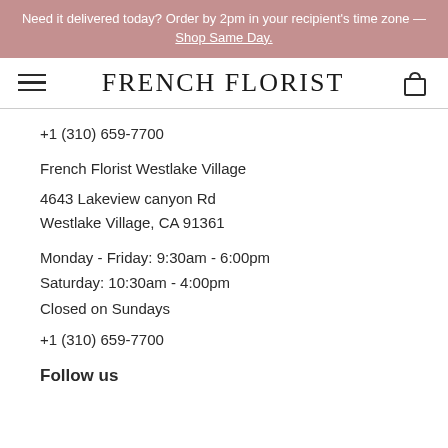Need it delivered today? Order by 2pm in your recipient's time zone — Shop Same Day.
FRENCH FLORIST
+1 (310) 659-7700
French Florist Westlake Village
4643 Lakeview canyon Rd
Westlake Village, CA 91361
Monday - Friday: 9:30am - 6:00pm
Saturday: 10:30am - 4:00pm
Closed on Sundays
+1 (310) 659-7700
Follow us